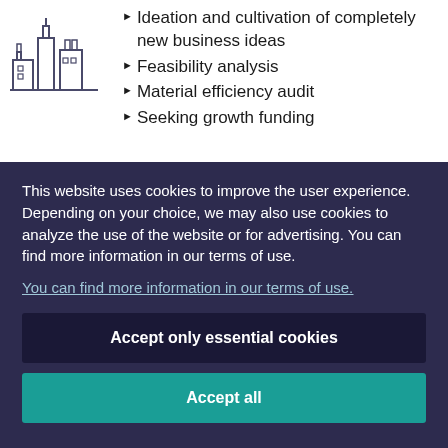[Figure (illustration): Line-art icon of industrial buildings/factory skyline]
Ideation and cultivation of completely new business ideas
Feasibility analysis
Material efficiency audit
Seeking growth funding
This website uses cookies to improve the user experience. Depending on your choice, we may also use cookies to analyze the use of the website or for advertising. You can find more information in our terms of use.
You can find more information in our terms of use.
Accept only essential cookies
Accept all